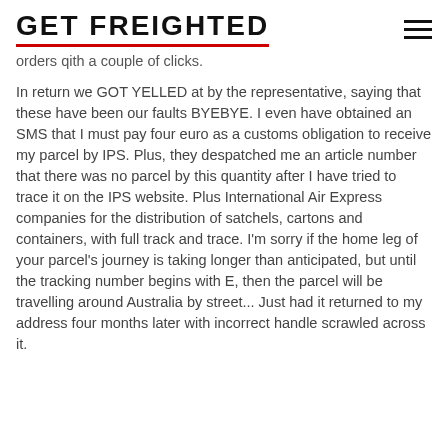GET FREIGHTED
orders qith a couple of clicks.
In return we GOT YELLED at by the representative, saying that these have been our faults BYEBYE. I even have obtained an SMS that I must pay four euro as a customs obligation to receive my parcel by IPS. Plus, they despatched me an article number that there was no parcel by this quantity after I have tried to trace it on the IPS website. Plus International Air Express companies for the distribution of satchels, cartons and containers, with full track and trace. I'm sorry if the home leg of your parcel's journey is taking longer than anticipated, but until the tracking number begins with E, then the parcel will be travelling around Australia by street... Just had it returned to my address four months later with incorrect handle scrawled across it.